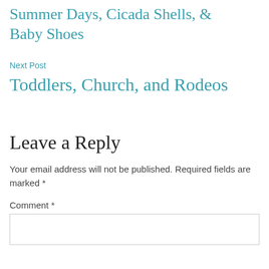Summer Days, Cicada Shells, & Baby Shoes
Next Post
Toddlers, Church, and Rodeos
Leave a Reply
Your email address will not be published. Required fields are marked *
Comment *
[Figure (other): Empty comment text area input box]